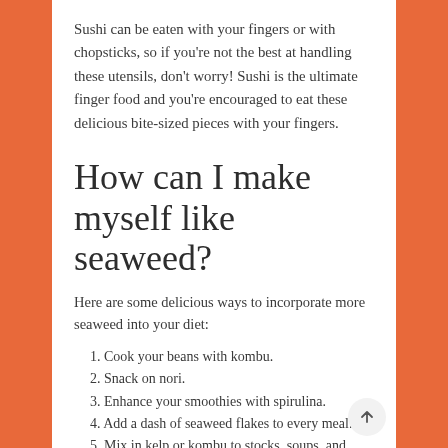Sushi can be eaten with your fingers or with chopsticks, so if you're not the best at handling these utensils, don't worry! Sushi is the ultimate finger food and you're encouraged to eat these delicious bite-sized pieces with your fingers.
How can I make myself like seaweed?
Here are some delicious ways to incorporate more seaweed into your diet:
Cook your beans with kombu.
Snack on nori.
Enhance your smoothies with spirulina.
Add a dash of seaweed flakes to every meal.
Mix in kelp or kombu to stocks, soups, and stews.